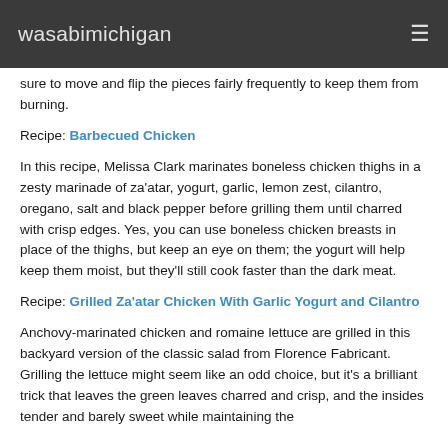wasabimichigan
sure to move and flip the pieces fairly frequently to keep them from burning.
Recipe: Barbecued Chicken
In this recipe, Melissa Clark marinates boneless chicken thighs in a zesty marinade of za'atar, yogurt, garlic, lemon zest, cilantro, oregano, salt and black pepper before grilling them until charred with crisp edges. Yes, you can use boneless chicken breasts in place of the thighs, but keep an eye on them; the yogurt will help keep them moist, but they'll still cook faster than the dark meat.
Recipe: Grilled Za'atar Chicken With Garlic Yogurt and Cilantro
Anchovy-marinated chicken and romaine lettuce are grilled in this backyard version of the classic salad from Florence Fabricant. Grilling the lettuce might seem like an odd choice, but it's a brilliant trick that leaves the green leaves charred and crisp, and the insides tender and barely sweet while maintaining the